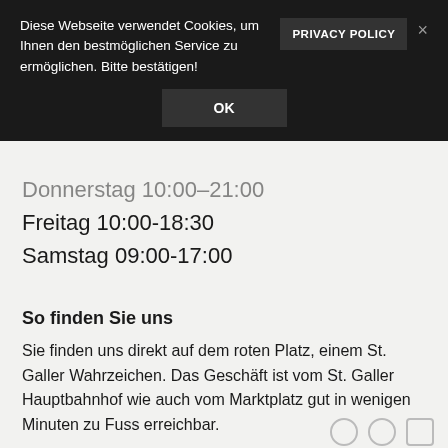Diese Webseite verwendet Cookies, um Ihnen den bestmöglichen Service zu ermöglichen. Bitte bestätigen!
PRIVACY POLICY
OK
Donnerstag 10:00-21:00
Freitag 10:00-18:30
Samstag 09:00-17:00
So finden Sie uns
Sie finden uns direkt auf dem roten Platz, einem St. Galler Wahrzeichen. Das Geschäft ist vom St. Galler Hauptbahnhof wie auch vom Marktplatz gut in wenigen Minuten zu Fuss erreichbar.